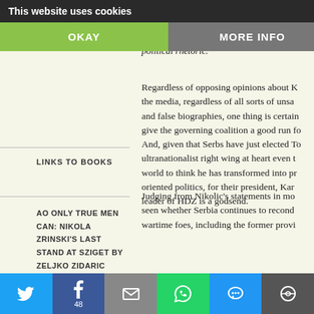This website uses cookies
OKAY
MORE INFO
aggression against Croatia, 16 October 1991)
LINKS TO BOOKS
AO ONLY TRUE MEN CAN: NIKOLA ZRINSKI'S LAST STAND AT SZIGET BY ZELJKO ZIDARIC
defend the national interests of Croatia a deal with issues head-on, even the unpo by, Karamark... speeches wi political rhetoric.
Regardless of opposing opinions about K the media, regardless of all sorts of unsa and false biographies, one thing is certain give the governing coalition a good run fo And, given that Serbs have just elected To ultranationalist right wing at heart even t world to think he has transformed into p oriented politics, for their president, Ka leader of HDZ is a godsend.
Judging from Nikolic's statements in mo seen whether Serbia continues to recond wartime foes, including the former provi
Twitter | Facebook 48 | Email | WhatsApp | SMS | More